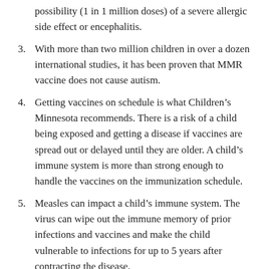(continuation) possibility (1 in 1 million doses) of a severe allergic side effect or encephalitis.
3. With more than two million children in over a dozen international studies, it has been proven that MMR vaccine does not cause autism.
4. Getting vaccines on schedule is what Children’s Minnesota recommends. There is a risk of a child being exposed and getting a disease if vaccines are spread out or delayed until they are older. A child’s immune system is more than strong enough to handle the vaccines on the immunization schedule.
5. Measles can impact a child’s immune system. The virus can wipe out the immune memory of prior infections and vaccines and make the child vulnerable to infections for up to 5 years after contracting the disease.
6. We all do our part in society to keep each other safe like driving the speed limit, following traffic lights and not